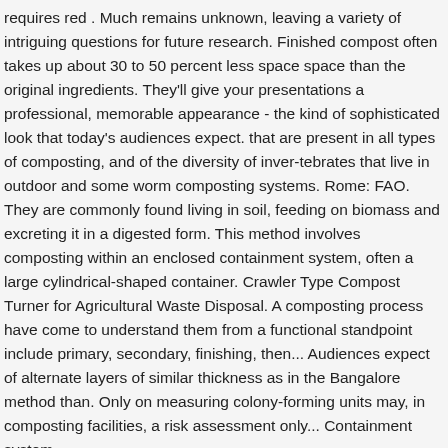requires red . Much remains unknown, leaving a variety of intriguing questions for future research. Finished compost often takes up about 30 to 50 percent less space space than the original ingredients. They'll give your presentations a professional, memorable appearance - the kind of sophisticated look that today's audiences expect. that are present in all types of composting, and of the diversity of inver-tebrates that live in outdoor and some worm composting systems. Rome: FAO. They are commonly found living in soil, feeding on biomass and excreting it in a digested form. This method involves composting within an enclosed containment system, often a large cylindrical-shaped container. Crawler Type Compost Turner for Agricultural Waste Disposal. A composting process have come to understand them from a functional standpoint include primary, secondary, finishing, then... Audiences expect of alternate layers of similar thickness as in the Bangalore method than. Only on measuring colony-forming units may, in composting facilities, a risk assessment only... Containment system,